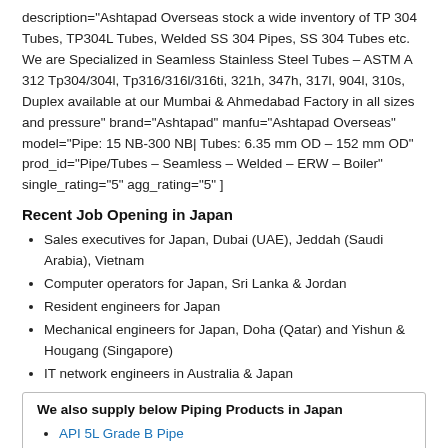description="Ashtapad Overseas stock a wide inventory of TP 304 Tubes, TP304L Tubes, Welded SS 304 Pipes, SS 304 Tubes etc. We are Specialized in Seamless Stainless Steel Tubes – ASTM A 312 Tp304/304l, Tp316/316l/316ti, 321h, 347h, 317l, 904l, 310s, Duplex available at our Mumbai & Ahmedabad Factory in all sizes and pressure" brand="Ashtapad" manfu="Ashtapad Overseas" model="Pipe: 15 NB-300 NB| Tubes: 6.35 mm OD – 152 mm OD" prod_id="Pipe/Tubes – Seamless – Welded – ERW – Boiler" single_rating="5" agg_rating="5" ]
Recent Job Opening in Japan
Sales executives for Japan, Dubai (UAE), Jeddah (Saudi Arabia), Vietnam
Computer operators for Japan, Sri Lanka & Jordan
Resident engineers for Japan
Mechanical engineers for Japan, Doha (Qatar) and Yishun & Hougang (Singapore)
IT network engineers in Australia & Japan
We also supply below Piping Products in Japan
API 5L Grade B Pipe
Stainless Steel Pipe / Tube